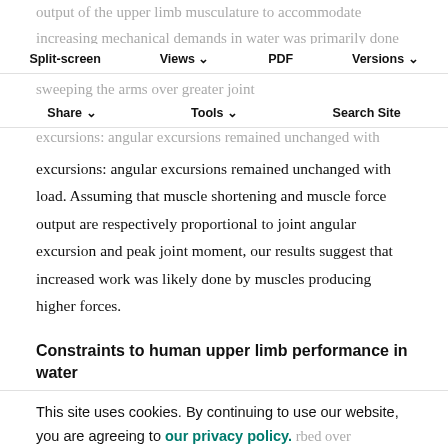output of the upper limb musculature to accommodate increasing mechanical demands in water was primarily done through twofold increases in moments at all joints, rather than sweeping the arms over greater joint excursions: angular excursions remained unchanged with load. Assuming that muscle shortening and muscle force output are respectively proportional to joint angular excursion and peak joint moment, our results suggest that increased work was likely done by muscles producing higher forces.
Split-screen  Views  PDF  Versions  Share  Tools  Search Site
Constraints to human upper limb performance in water
This site uses cookies. By continuing to use our website, you are agreeing to our privacy policy. Accept
indicating a negligible dissipation or storage of